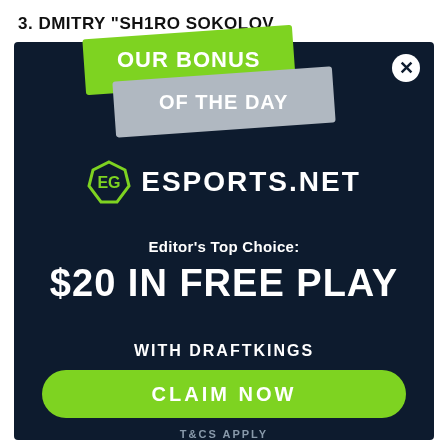3. DMITRY "SH1RO SOKOLOV
[Figure (infographic): Esports.net bonus advertisement modal with green and gray ribbon banners saying 'OUR BONUS OF THE DAY', Esports.net logo, Editor's Top Choice text, $20 IN FREE PLAY WITH DRAFTKINGS offer, green CLAIM NOW button, and T&CS APPLY text]
Editor's Top Choice:
$20 IN FREE PLAY
WITH DRAFTKINGS
CLAIM NOW
T&CS APPLY